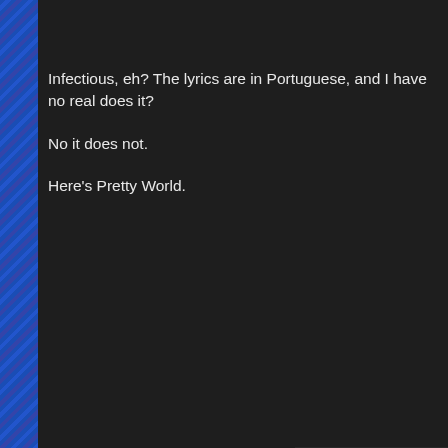Infectious, eh? The lyrics are in Portuguese, and I have no real does it?
No it does not.
Here's Pretty World.
[Figure (screenshot): YouTube video embed showing Sergio Mendes video with a woman in white dress and YouTube play button overlay]